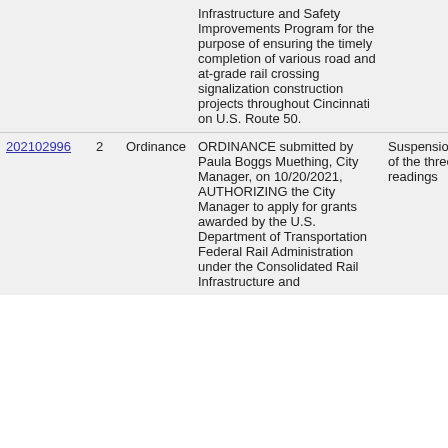| ID | # | Type | Description | Action |
| --- | --- | --- | --- | --- |
|  |  |  | Infrastructure and Safety Improvements Program for the purpose of ensuring the timely completion of various road and at-grade rail crossing signalization construction projects throughout Cincinnati on U.S. Route 50. |  |
| 202102996 | 2 | Ordinance | ORDINANCE submitted by Paula Boggs Muething, City Manager, on 10/20/2021, AUTHORIZING the City Manager to apply for grants awarded by the U.S. Department of Transportation Federal Rail Administration under the Consolidated Rail Infrastructure and | Suspension of the three readings |